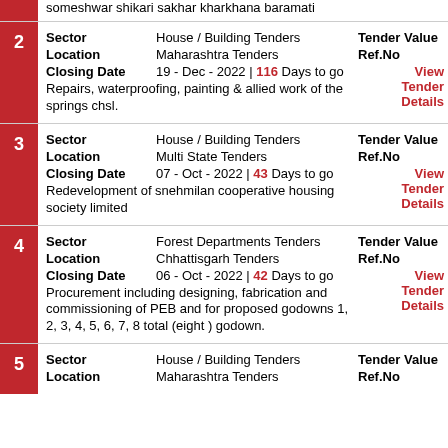someshwar shikari sakhar kharkhana baramati
| Field | Value | Right Label |
| --- | --- | --- |
| Sector | House / Building Tenders | Tender Value |
| Location | Maharashtra Tenders | Ref.No |
| Closing Date | 19 - Dec - 2022 | 116 Days to go | View Tender Details |
|  | Repairs, waterproofing, painting & allied work of the springs chsl. |  |
| Field | Value | Right Label |
| --- | --- | --- |
| Sector | House / Building Tenders | Tender Value |
| Location | Multi State Tenders | Ref.No |
| Closing Date | 07 - Oct - 2022 | 43 Days to go | View Tender Details |
|  | Redevelopment of snehmilan cooperative housing society limited |  |
| Field | Value | Right Label |
| --- | --- | --- |
| Sector | Forest Departments Tenders | Tender Value |
| Location | Chhattisgarh Tenders | Ref.No |
| Closing Date | 06 - Oct - 2022 | 42 Days to go | View Tender Details |
|  | Procurement including designing, fabrication and commissioning of PEB and for proposed godowns 1, 2, 3, 4, 5, 6, 7, 8 total (eight ) godown. |  |
| Field | Value | Right Label |
| --- | --- | --- |
| Sector | House / Building Tenders | Tender Value |
| Location | Maharashtra Tenders | Ref.No |